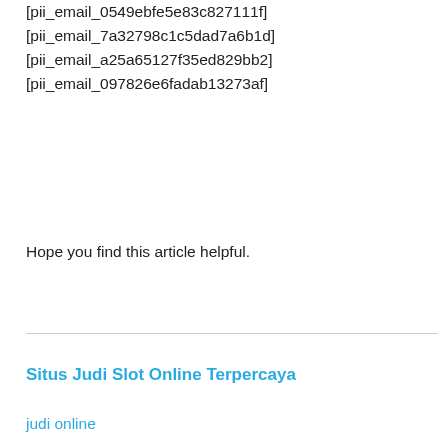[pii_email_0549ebfe5e83c827111f]
[pii_email_7a32798c1c5dad7a6b1d]
[pii_email_a25a65127f35ed829bb2]
[pii_email_097826e6fadab13273af]
Hope you find this article helpful.
Situs Judi Slot Online Terpercaya
judi online